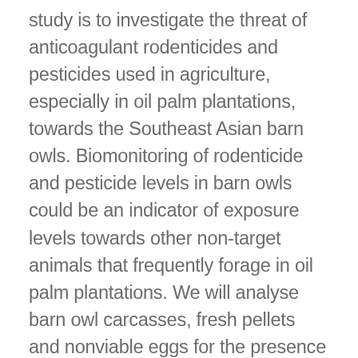study is to investigate the threat of anticoagulant rodenticides and pesticides used in agriculture, especially in oil palm plantations, towards the Southeast Asian barn owls. Biomonitoring of rodenticide and pesticide levels in barn owls could be an indicator of exposure levels towards other non-target animals that frequently forage in oil palm plantations. We will analyse barn owl carcasses, fresh pellets and nonviable eggs for the presence of anticoagulant rodenticides, pyrethroid insecticides and herbicides commercially available and widely used in Malaysia. We will also test for presence of